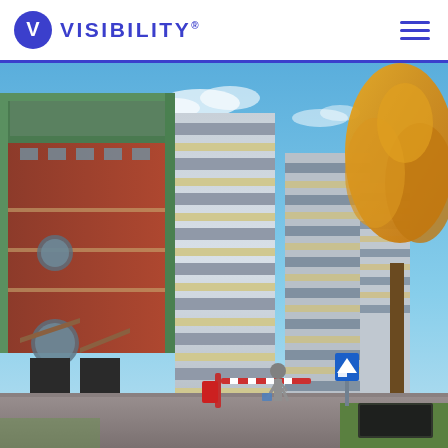VISIBILITY®
[Figure (photo): Exterior photograph of a multi-storey car park with striped silver and cream cladding, adjacent to a red brick building, taken on a sunny autumn day with yellow-leaved trees visible on the right side and a person walking in the foreground near a barrier gate and road signs.]